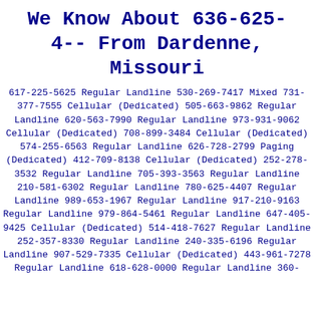We Know About 636-625-4-- From Dardenne, Missouri
617-225-5625 Regular Landline 530-269-7417 Mixed 731-377-7555 Cellular (Dedicated) 505-663-9862 Regular Landline 620-563-7990 Regular Landline 973-931-9062 Cellular (Dedicated) 708-899-3484 Cellular (Dedicated) 574-255-6563 Regular Landline 626-728-2799 Paging (Dedicated) 412-709-8138 Cellular (Dedicated) 252-278-3532 Regular Landline 705-393-3563 Regular Landline 210-581-6302 Regular Landline 780-625-4407 Regular Landline 989-653-1967 Regular Landline 917-210-9163 Regular Landline 979-864-5461 Regular Landline 647-405-9425 Cellular (Dedicated) 514-418-7627 Regular Landline 252-357-8330 Regular Landline 240-335-6196 Regular Landline 907-529-7335 Cellular (Dedicated) 443-961-7278 Regular Landline 618-628-0000 Regular Landline 360-...